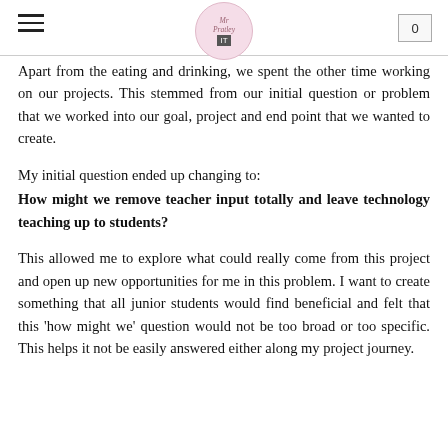Mr Pratley — navigation header with logo and cart
Apart from the eating and drinking, we spent the other time working on our projects. This stemmed from our initial question or problem that we worked into our goal, project and end point that we wanted to create.
My initial question ended up changing to: How might we remove teacher input totally and leave technology teaching up to students?
This allowed me to explore what could really come from this project and open up new opportunities for me in this problem. I want to create something that all junior students would find beneficial and felt that this 'how might we' question would not be too broad or too specific. This helps it not be easily answered either along my project journey.